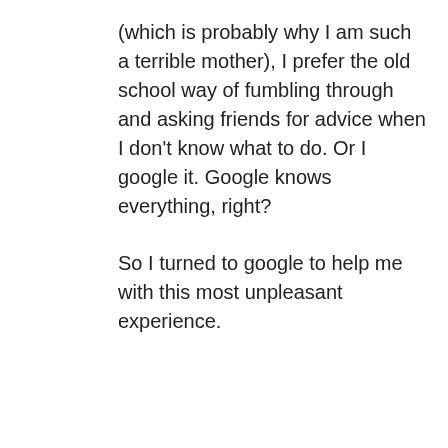(which is probably why I am such a terrible mother), I prefer the old school way of fumbling through and asking friends for advice when I don't know what to do. Or I google it. Google knows everything, right?

So I turned to google to help me with this most unpleasant experience.